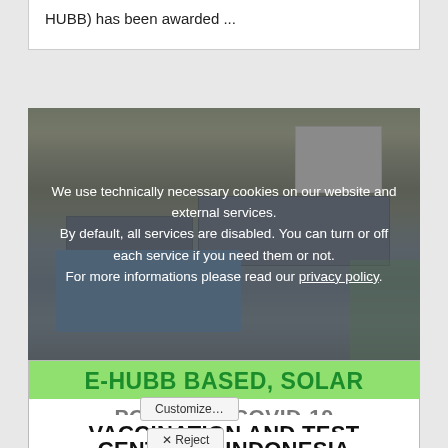HUBB) has been awarded ...
[Figure (photo): Outdoor photo of a blue solar-powered unit with solar panels on top, partially submerged in flooded surroundings with vegetation and a white structure in background. A cookie consent overlay is displayed over the image.]
E-HUBB BASED, SOLAR
POWERED COVID-19
VACCINATION AND TEST
CENTER IN INDONESIA